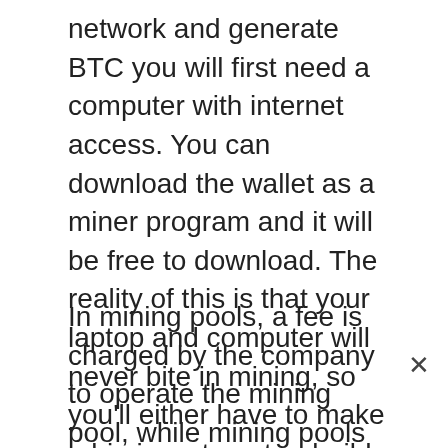network and generate BTC you will first need a computer with internet access. You can download the wallet as a miner program and it will be free to download. The reality of this is that your laptop and computer will never bite in mining, so you'll either have to make a big investment or build a mining rig, get involved with a mining pool, or you'll have to turn to a cloud mining service. Must subscribe. For this, you need due diligence just like in any type of investment.
In mining pools, a fee is charged by the company to operate the mining pool, while mining pools on the other hand can completely solve many blocks, so that part of the mining pool can be earned with the miners immediately. For this, you need a